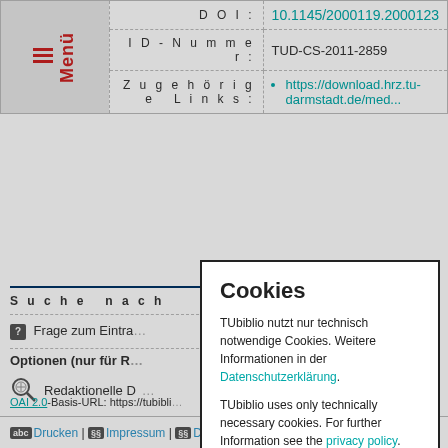|  | Label | Value |
| --- | --- | --- |
| Logo/Menu | D O I : | 10.1145/2000119.2000123 |
|  | I D - N u m m e r : | TUD-CS-2011-2859 |
|  | Z u g e h ö r i g e   L i n k s : | https://download.hrz.tu-darmstadt.de/med... |
S u c h e   n a c h
Frage zum Eintra...
Optionen (nur für R...
Redaktionelle D...
OAI 2.0-Basis-URL: https://tubibli...
[Figure (screenshot): Cookie consent modal dialog overlay with title 'Cookies', bilingual text about cookie policy in German and English, with a link to Datenschutzerklärung/privacy policy and an Okay button]
Drucken | Impressum | Datenschutzerklärung